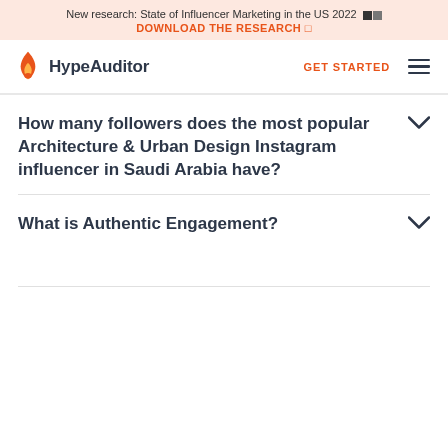New research: State of Influencer Marketing in the US 2022 DOWNLOAD THE RESEARCH
[Figure (logo): HypeAuditor flame logo and wordmark with GET STARTED link and hamburger menu]
How many followers does the most popular Architecture & Urban Design Instagram influencer in Saudi Arabia have?
What is Authentic Engagement?